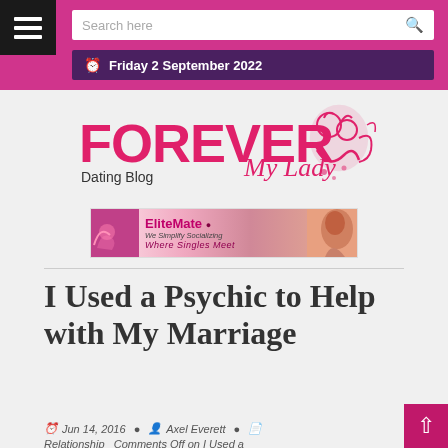Search here | Friday 2 September 2022
[Figure (logo): Forever My Lady Dating Blog logo - pink bold text with decorative illustration of two women]
[Figure (illustration): EliteMate banner ad - We Simplify Socializing, Where Singles Meet]
I Used a Psychic to Help with My Marriage
Jun 14, 2016  Axel Everett  Relationship  Comments Off on I Used a